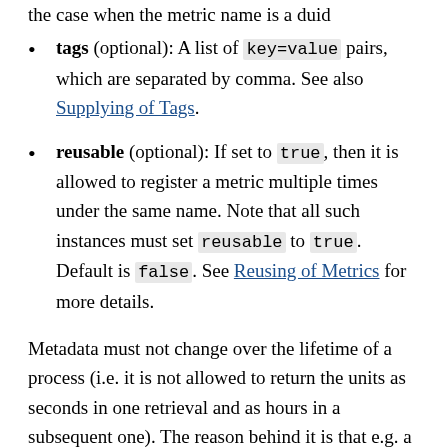the case when the metric name is a duid
tags (optional): A list of key=value pairs, which are separated by comma. See also Supplying of Tags.
reusable (optional): If set to true, then it is allowed to register a metric multiple times under the same name. Note that all such instances must set reusable to true. Default is false. See Reusing of Metrics for more details.
Metadata must not change over the lifetime of a process (i.e. it is not allowed to return the units as seconds in one retrieval and as hours in a subsequent one). The reason behind it is that e.g. a monitoring agent on Kubernetes may read the metadata once it sees the new container and store it. It may not periodically re-query the process for the